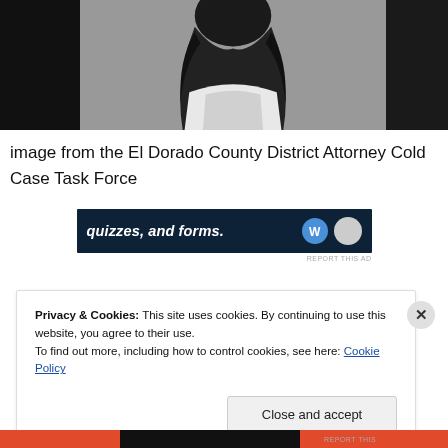[Figure (photo): Black and white photograph strip showing a person with long dark hair wearing a white top, split across three panels with dark areas on the sides]
image from the El Dorado County District Attorney Cold Case Task Force
[Figure (screenshot): Advertisement banner with dark blue background showing text 'quizzes, and forms.' with WordPress logo icon]
Privacy & Cookies: This site uses cookies. By continuing to use this website, you agree to their use.
To find out more, including how to control cookies, see here: Cookie Policy
Close and accept